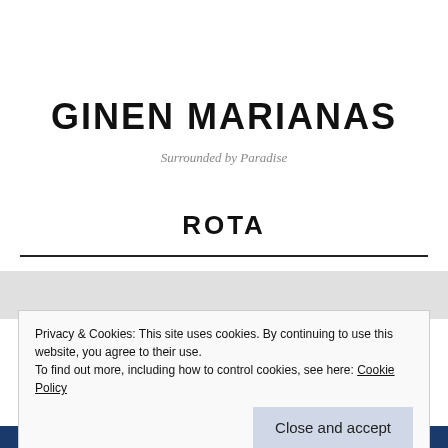GINEN MARIANAS
Surrounded by Paradise
ROTA
Privacy & Cookies: This site uses cookies. By continuing to use this website, you agree to their use.
To find out more, including how to control cookies, see here: Cookie Policy
Close and accept